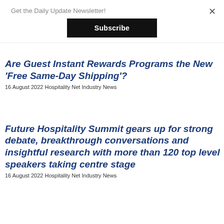Get the Daily Update Newsletter!
Subscribe
Are Guest Instant Rewards Programs the New 'Free Same-Day Shipping'?
16 August 2022 Hospitality Net Industry News
Future Hospitality Summit gears up for strong debate, breakthrough conversations and insightful research with more than 120 top level speakers taking centre stage
16 August 2022 Hospitality Net Industry News